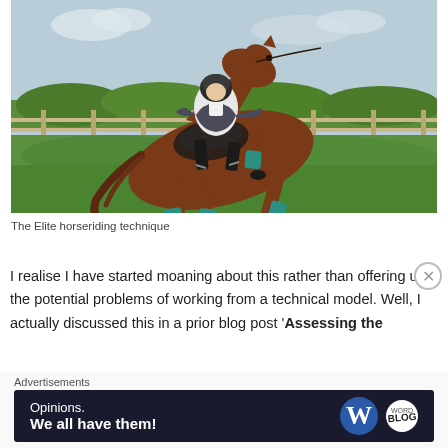[Figure (photo): A brown horse with teal leg wraps cantering across a grass field, ridden by a jockey in white and black equestrian gear. Wooden fence and green hedgerow in background.]
The Elite horseriding technique
I realise I have started moaning about this rather than offering up the potential problems of working from a technical model. Well, I actually discussed this in a prior blog post 'Assessing the
Advertisements
[Figure (other): Advertisement banner with dark navy background. Left side reads 'Opinions. We all have them!' in white text. Right side shows WordPress 'W' logo circle and a smaller round logo.]